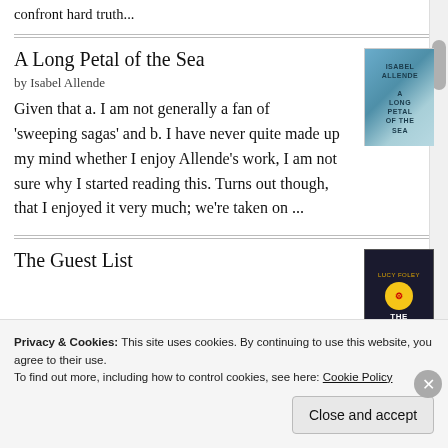confront hard truth...
A Long Petal of the Sea
by Isabel Allende
[Figure (illustration): Book cover of 'A Long Petal of the Sea' by Isabel Allende, teal/blue tones]
Given that a. I am not generally a fan of 'sweeping sagas' and b. I have never quite made up my mind whether I enjoy Allende’s work, I am not sure why I started reading this. Turns out though, that I enjoyed it very much; we’re taken on ...
The Guest List
[Figure (illustration): Book cover of 'The Guest List', dark background with gold/yellow title text]
Privacy & Cookies: This site uses cookies. By continuing to use this website, you agree to their use.
To find out more, including how to control cookies, see here: Cookie Policy
Close and accept